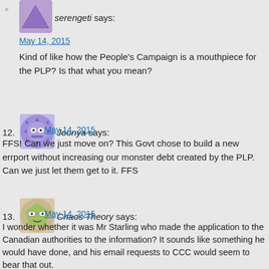serengeti says: May 14, 2015 — Kind of like how the People's Campaign is a mouthpiece for the PLP? Is that what you mean?
12. Joonya says: May 14, 2015 — FFS! Can we just move on? This Govt chose to build a new errport without increasing our monster debt created by the PLP. Can we just let them get to it. FFS
13. Chaos Theory says: May 14, 2015 — I wonder whether it was Mr Starling who made the application to the Canadian authorities to the information? It sounds like something he would have done, and his email requests to CCC would seem to bear that out. If that is correct, then an op ed piece like this seems a bit strange. Unlike Mr Starling, I have read a substantial number of the original emails (not just the Combined Opposition's extracts), and I think he has found the wrong tree and his email to bear that out.